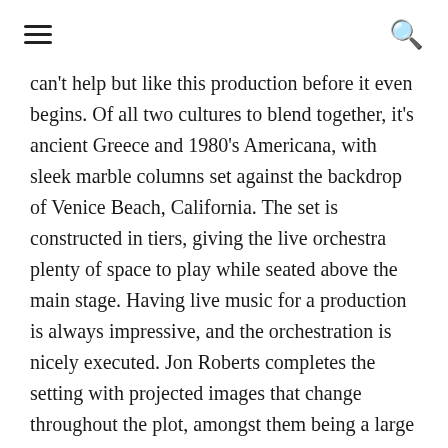[hamburger menu] [search icon]
can't help but like this production before it even begins. Of all two cultures to blend together, it's ancient Greece and 1980's Americana, with sleek marble columns set against the backdrop of Venice Beach, California. The set is constructed in tiers, giving the live orchestra plenty of space to play while seated above the main stage. Having live music for a production is always impressive, and the orchestration is nicely executed. Jon Roberts completes the setting with projected images that change throughout the plot, amongst them being a large chalk drawing and a lively carnival.
A quintessential 80's piece, everything about this production is amped up. Lighting Designers Ken and